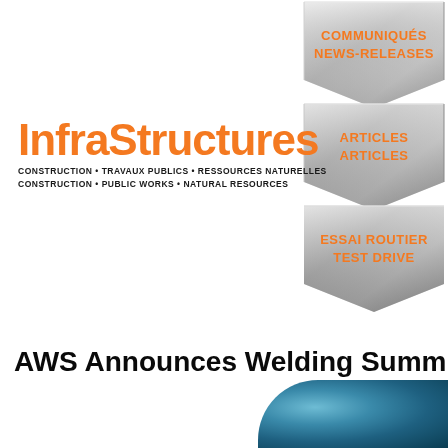[Figure (logo): InfraStructures magazine logo with orange text and bilingual subtitle: CONSTRUCTION • TRAVAUX PUBLICS • RESSOURCES NATURELLES / CONSTRUCTION • PUBLIC WORKS • NATURAL RESOURCES]
[Figure (illustration): Navigation button: COMMUNIQUÉS NEWS-RELEASES on metallic diamond/shield background]
[Figure (illustration): Navigation button: ARTICLES ARTICLES on metallic diamond/shield background]
[Figure (illustration): Navigation button: ESSAI ROUTIER TEST DRIVE on metallic diamond/shield background]
AWS Announces Welding Summit 2022
[Figure (photo): Partial photo of welding-related metallic curved surface, teal/blue color at bottom right of page]